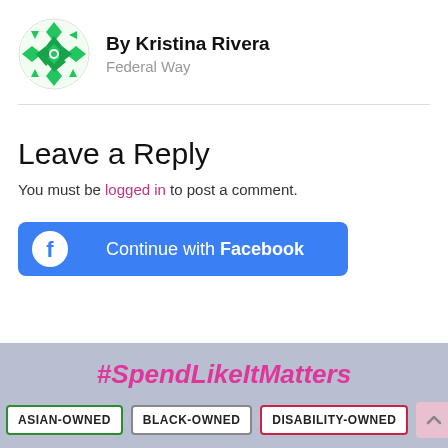[Figure (illustration): Circular green geometric/diamond-pattern avatar icon for user Kristina Rivera]
By Kristina Rivera
Federal Way
Leave a Reply
You must be logged in to post a comment.
[Figure (screenshot): Blue 'Continue with Facebook' button with Facebook logo icon]
#SpendLikeItMatters
ASIAN-OWNED   BLACK-OWNED   DISABILITY-OWNED